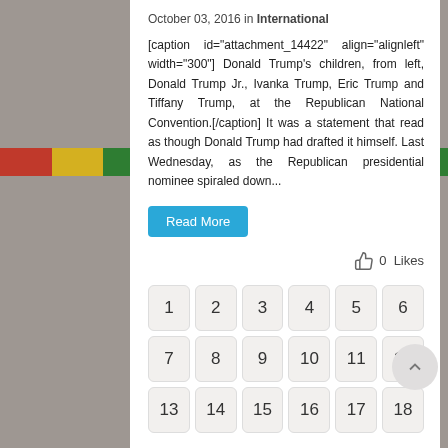October 03, 2016 in International
[caption id="attachment_14422" align="alignleft" width="300"] Donald Trump's children, from left, Donald Trump Jr., Ivanka Trump, Eric Trump and Tiffany Trump, at the Republican National Convention.[/caption] It was a statement that read as though Donald Trump had drafted it himself. Last Wednesday, as the Republican presidential nominee spiraled down...
Read More
0  Likes
1 2 3 4 5 6 7 8 9 10 11 12 13 14 15 16 17 18